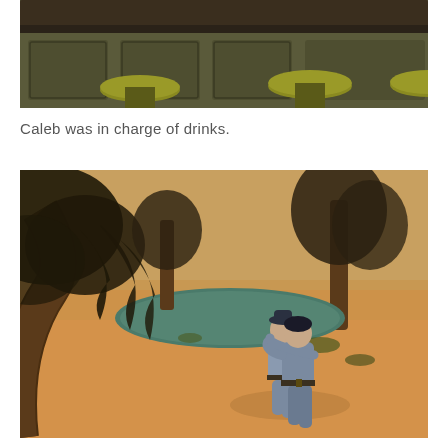[Figure (screenshot): Screenshot from The Sims video game showing a bar interior with green bar stools and a dark wooden bar counter. The scene is viewed at an angle showing the bar area with olive-green upholstered stools.]
Caleb was in charge of drinks.
[Figure (screenshot): Screenshot from The Sims video game showing an outdoor desert oasis scene. Two Sim characters are hugging near a pond of greenish water surrounded by sandy terrain and trees. The characters are wearing grey clothing.]